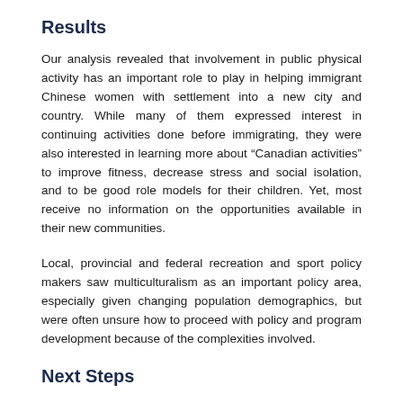Results
Our analysis revealed that involvement in public physical activity has an important role to play in helping immigrant Chinese women with settlement into a new city and country. While many of them expressed interest in continuing activities done before immigrating, they were also interested in learning more about “Canadian activities” to improve fitness, decrease stress and social isolation, and to be good role models for their children. Yet, most receive no information on the opportunities available in their new communities.
Local, provincial and federal recreation and sport policy makers saw multiculturalism as an important policy area, especially given changing population demographics, but were often unsure how to proceed with policy and program development because of the complexities involved.
Next Steps
A Multiculturalism, Sport and Physical Activity Workbook is being prepared to assist communities in the development of physical